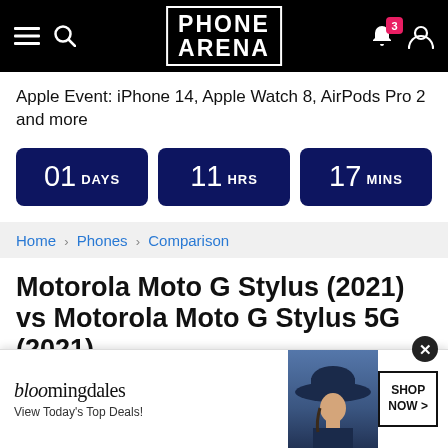PhoneArena navigation bar with hamburger menu, search, logo, notification bell (3), and user icon
Apple Event: iPhone 14, Apple Watch 8, AirPods Pro 2 and more
01 DAYS  11 HRS  17 MINS
Home > Phones > Comparison
Motorola Moto G Stylus (2021) vs Motorola Moto G Stylus 5G (2021)
Compare phone and tablet specifications of up to three
[Figure (screenshot): Bloomingdale's advertisement banner with 'View Today's Top Deals!' text, a woman in a hat, and a 'SHOP NOW >' button. Has a close (X) button.]